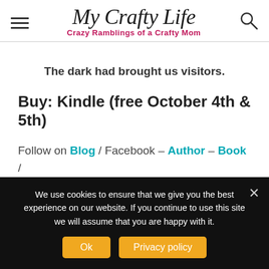My Crafty Life — Crazy Ramblings of a Crafty Mom
The dark had brought us visitors.
Buy: Kindle (free October 4th & 5th)
Follow on Blog / Facebook – Author – Book / Twitter / Goodreads
We use cookies to ensure that we give you the best experience on our website. If you continue to use this site we will assume that you are happy with it.